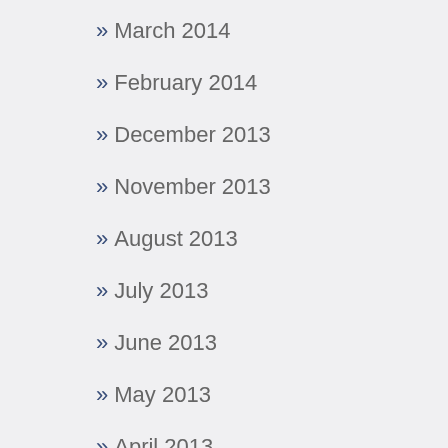» March 2014
» February 2014
» December 2013
» November 2013
» August 2013
» July 2013
» June 2013
» May 2013
» April 2013
» March 2013